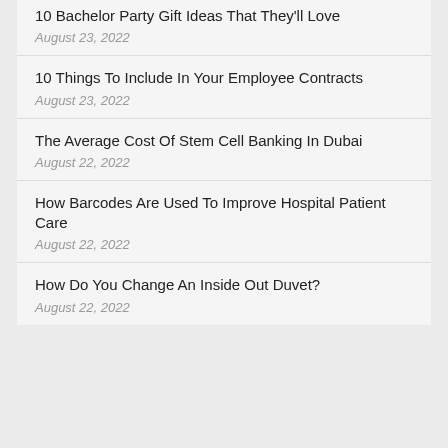10 Bachelor Party Gift Ideas That They'll Love
August 23, 2022
10 Things To Include In Your Employee Contracts
August 23, 2022
The Average Cost Of Stem Cell Banking In Dubai
August 22, 2022
How Barcodes Are Used To Improve Hospital Patient Care
August 22, 2022
How Do You Change An Inside Out Duvet?
August 22, 2022